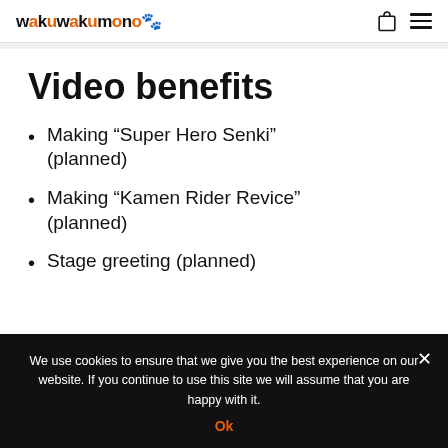wakuwakumono
Video benefits
Making “Super Hero Senki” (planned)
Making “Kamen Rider Revice” (planned)
Stage greeting (planned)
We use cookies to ensure that we give you the best experience on our website. If you continue to use this site we will assume that you are happy with it.
Ok